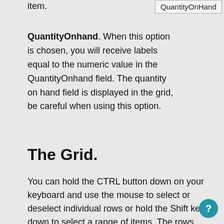item.
[Figure (screenshot): UI element box showing 'QuantityOnHand' label with a border]
QuantityOnhand. When this option is chosen, you will receive labels equal to the numeric value in the QuantityOnhand field. The quantity on hand field is displayed in the grid, be careful when using this option.
The Grid.
You can hold the CTRL button down on your keyboard and use the mouse to select or deselect individual rows or hold the Shift key down to select a range of items. The rows that are blue are the rows that will print.